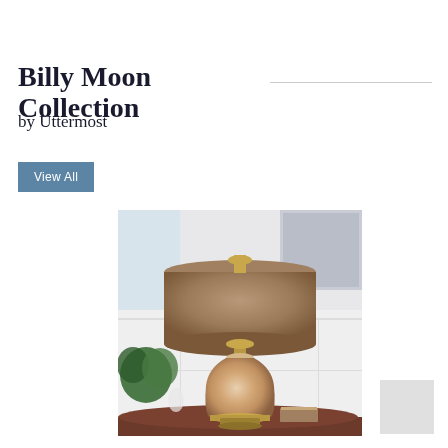Billy Moon Collection
by Uttermost
View All
[Figure (photo): A decorative ceramic table lamp with a warm champagne/copper glazed oval base and brass fittings, topped with a large taupe drum shade, displayed on a dark wood round table with a white paneled wall background and green plant.]
[Figure (other): Light gray square swatch in bottom right corner.]